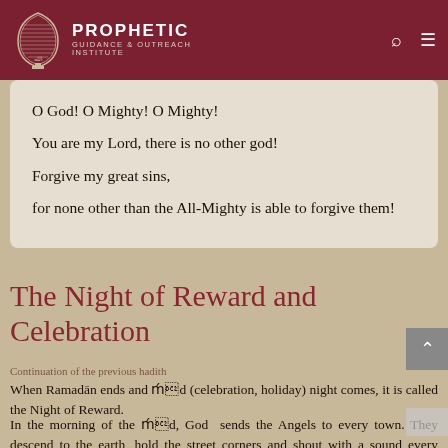PROPHETIC GUIDANCE & OUTREACH INSTITUTE
O God! O Mighty! O Mighty!
You are my Lord, there is no other god!
Forgive my great sins,
for none other than the All-Mighty is able to forgive them!
The Night of Reward and Celebration
Continuation of the previous hadith
When Ramadān ends and ʿĪd (celebration, holiday) night comes, it is called the Night of Reward.
In the morning of the ʿĪd, God sends the Angels to every town. They descend to the earth, hold the street corners and shout with a sound every creature can hear except the human beings and the Jinn. "O! Community